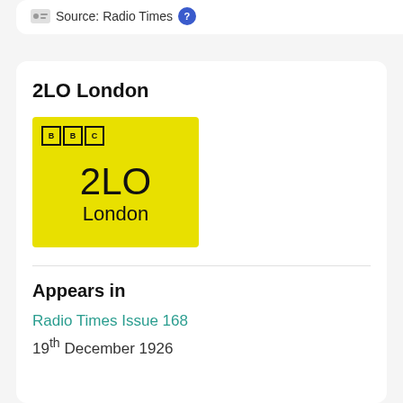Source: Radio Times
2LO London
[Figure (logo): BBC 2LO London yellow logo with BBC boxes in top-left and '2LO London' text on yellow background]
Appears in
Radio Times Issue 168
19th December 1926